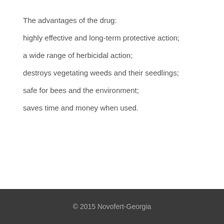The advantages of the drug:
highly effective and long-term protective action;
a wide range of herbicidal action;
destroys vegetating weeds and their seedlings;
safe for bees and the environment;
saves time and money when used.
© 2015 Novofert-Georgia